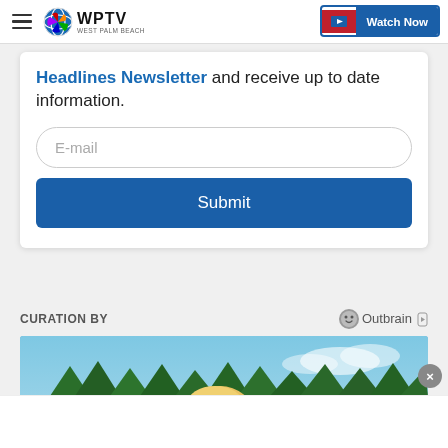WPTV West Palm Beach | Watch Now
Headlines Newsletter and receive up to date information.
E-mail
Submit
CURATION BY
[Figure (logo): Outbrain logo with circular face icon and play button]
[Figure (photo): Outdoor photo showing a child's head, blue sky, and a line of green trees in the background]